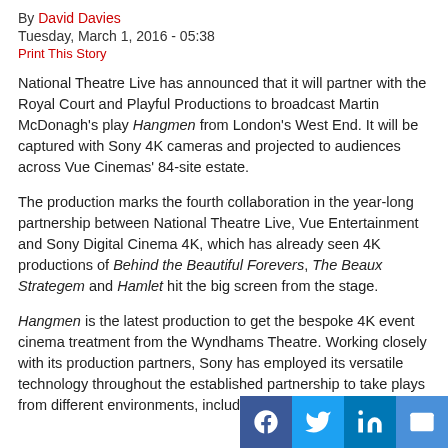By David Davies
Tuesday, March 1, 2016 - 05:38
Print This Story
National Theatre Live has announced that it will partner with the Royal Court and Playful Productions to broadcast Martin McDonagh's play Hangmen from London's West End. It will be captured with Sony 4K cameras and projected to audiences across Vue Cinemas' 84-site estate.
The production marks the fourth collaboration in the year-long partnership between National Theatre Live, Vue Entertainment and Sony Digital Cinema 4K, which has already seen 4K productions of Behind the Beautiful Forevers, The Beaux Strategem and Hamlet hit the big screen from the stage.
Hangmen is the latest production to get the bespoke 4K event cinema treatment from the Wyndhams Theatre. Working closely with its production partners, Sony has employed its versatile technology throughout the established partnership to take plays from different environments, including the Olivier Theatre,